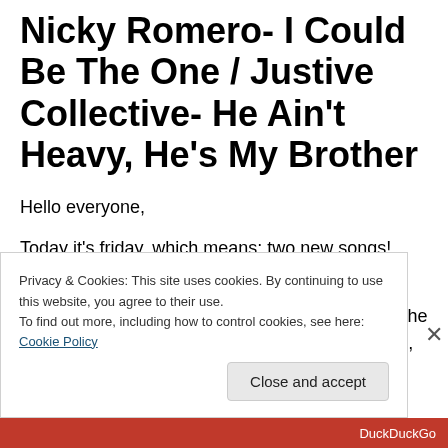Nicky Romero- I Could Be The One / Justive Collective- He Ain't Heavy, He's My Brother
Hello everyone,
Today it's friday, which means: two new songs!
And I have some good songs…
The first song is made for some kind of charity. The Justice Collective is a band with all kind of artists, including Robbie Williams and Melanie C...
Privacy & Cookies: This site uses cookies. By continuing to use this website, you agree to their use.
To find out more, including how to control cookies, see here: Cookie Policy
Close and accept